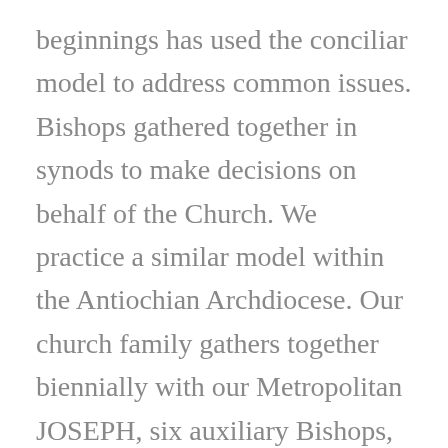beginnings has used the conciliar model to address common issues. Bishops gathered together in synods to make decisions on behalf of the Church. We practice a similar model within the Antiochian Archdiocese. Our church family gathers together biennially with our Metropolitan JOSEPH, six auxiliary Bishops, 200 clergy and hundreds of us, the faithful. The laity are just as involved in the growth and development and